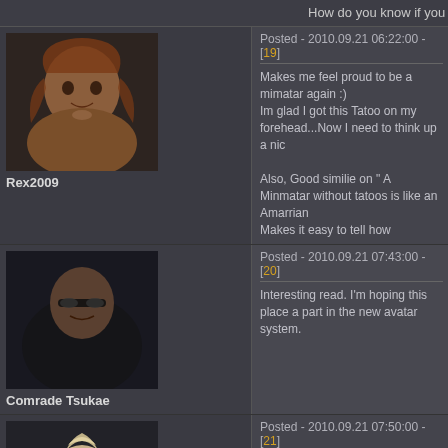How do you know if you have one or not? :)
Posted - 2010.09.21 06:22:00 - [19]
[Figure (photo): Avatar image of Rex2009, a male character with long reddish-brown hair]
Rex2009
Makes me feel proud to be a mimatar again :)
Im glad I got this Tatoo on my forehead...Now I need to think up a nic

Also, Good similie on " A Minmatar without tatoos is like an Amarrian
Makes it easy to tell how important they really are!
Thanks for the great read!

~Rex
Posted - 2010.09.21 07:43:00 - [20]
[Figure (photo): Avatar image of Comrade Tsukae, a male character wearing sunglasses]
Comrade Tsukae
Interesting read. I'm hoping this place a part in the new avatar system.
Posted - 2010.09.21 07:50:00 - [21]
[Figure (photo): Avatar image of Louella Dougans, a female blonde character with horned headpiece]
Louella Dougans
Amarr
Sovereign Hospitaller Order of Saint Katherine
There's a bit about clones and tattoos mentioned in the cloning article,
http://www.eveonline.com/background/cloning/clon_02.asp
Says that tattoos and other marks are easily applied using SCIENCE!
Posted - 2010.09.21 08:12:00 - [22]
[Figure (photo): Partial avatar image of a bald male character at the bottom of the page]